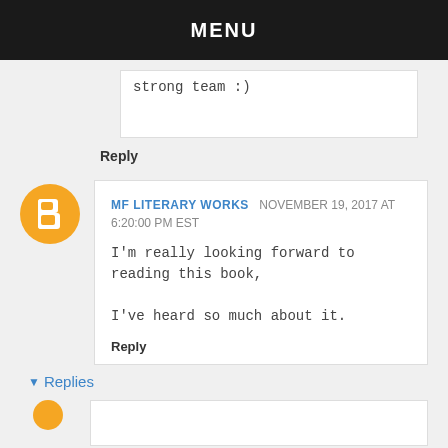MENU
strong team :)
Reply
MF LITERARY WORKS  NOVEMBER 19, 2017 AT 6:20:00 PM EST
I'm really looking forward to reading this book, I've heard so much about it.
Reply
▾ Replies